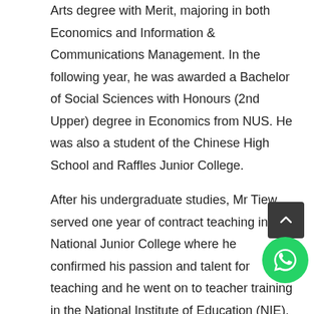Arts degree with Merit, majoring in both Economics and Information & Communications Management. In the following year, he was awarded a Bachelor of Social Sciences with Honours (2nd Upper) degree in Economics from NUS. He was also a student of the Chinese High School and Raffles Junior College.
After his undergraduate studies, Mr Tiew served one year of contract teaching in National Junior College where he confirmed his passion and talent for teaching and he went on to teacher training in the National Institute of Education (NIE). His flair for teaching was further affirmed by his NIE supervisor and School Cooperating